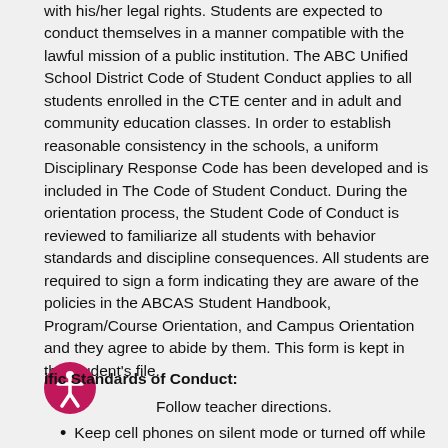with his/her legal rights. Students are expected to conduct themselves in a manner compatible with the lawful mission of a public institution. The ABC Unified School District Code of Student Conduct applies to all students enrolled in the CTE center and in adult and community education classes. In order to establish reasonable consistency in the schools, a uniform Disciplinary Response Code has been developed and is included in The Code of Student Conduct. During the orientation process, the Student Code of Conduct is reviewed to familiarize all students with behavior standards and discipline consequences. All students are required to sign a form indicating they are aware of the policies in the ABCAS Student Handbook, Program/Course Orientation, and Campus Orientation and they agree to abide by them. This form is kept in the student's file.
ific Standards of Conduct:
Follow teacher directions.
Keep cell phones on silent mode or turned off while